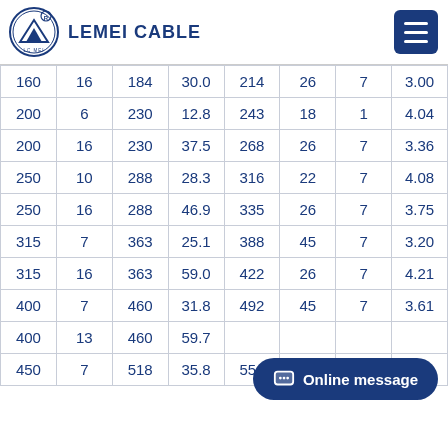LEMEI CABLE
| 160 | 16 | 184 | 30.0 | 214 | 26 | 7 | 3.00 |
| 200 | 6 | 230 | 12.8 | 243 | 18 | 1 | 4.04 |
| 200 | 16 | 230 | 37.5 | 268 | 26 | 7 | 3.36 |
| 250 | 10 | 288 | 28.3 | 316 | 22 | 7 | 4.08 |
| 250 | 16 | 288 | 46.9 | 335 | 26 | 7 | 3.75 |
| 315 | 7 | 363 | 25.1 | 388 | 45 | 7 | 3.20 |
| 315 | 16 | 363 | 59.0 | 422 | 26 | 7 | 4.21 |
| 400 | 7 | 460 | 31.8 | 492 | 45 | 7 | 3.61 |
| 400 | 13 | 460 | 59.7 |  |  |  |  |
| 450 | 7 | 518 | 35.8 | 554 | 45 | 7 | 3.83 |